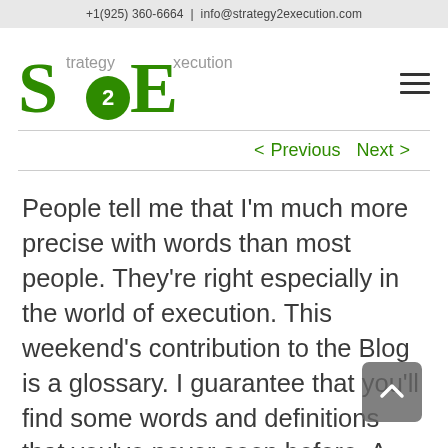+1(925) 360-6664  |  info@strategy2execution.com
[Figure (logo): Strategy2Execution logo with large green S and E letters, a green circle with '2' in center, and grey text 'trategy' and 'xecution']
< Previous   Next >
People tell me that I'm much more precise with words than most people. They're right especially in the world of execution. This weekend's contribution to the Blog is a glossary. I guarantee that you'll find some words and definitions that you've never seen before. A common